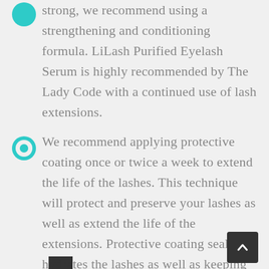strong, we recommend using a strengthening and conditioning formula. LiLash Purified Eyelash Serum is highly recommended by The Lady Code with a continued use of lash extensions.
We recommend applying protective coating once or twice a week to extend the life of the lashes. This technique will protect and preserve your lashes as well as extend the life of the extensions. Protective coating seals and hydrates the lashes as well as keeping them moisturized.